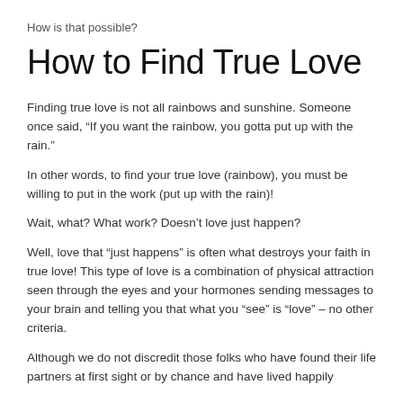How is that possible?
How to Find True Love
Finding true love is not all rainbows and sunshine. Someone once said, “If you want the rainbow, you gotta put up with the rain.”
In other words, to find your true love (rainbow), you must be willing to put in the work (put up with the rain)!
Wait, what? What work? Doesn’t love just happen?
Well, love that “just happens” is often what destroys your faith in true love! This type of love is a combination of physical attraction seen through the eyes and your hormones sending messages to your brain and telling you that what you “see” is “love” – no other criteria.
Although we do not discredit those folks who have found their life partners at first sight or by chance and have lived happily